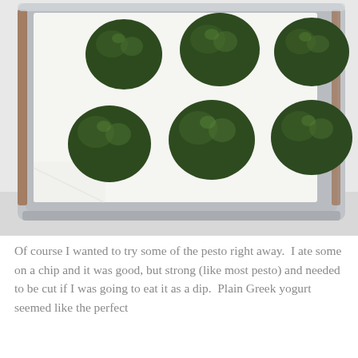[Figure (photo): Overhead photo of a baking sheet lined with white parchment paper, holding six rounded mounds of dark green pesto arranged in two rows of three, on a white background.]
Of course I wanted to try some of the pesto right away.  I ate some on a chip and it was good, but strong (like most pesto) and needed to be cut if I was going to eat it as a dip.  Plain Greek yogurt seemed like the perfect choice.